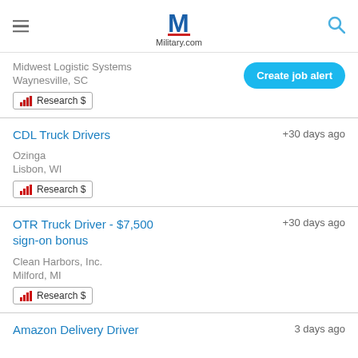Military.com
Midwest Logistic Systems
Waynesville, SC
Research $
Create job alert
CDL Truck Drivers +30 days ago
Ozinga
Lisbon, WI
Research $
OTR Truck Driver - $7,500 sign-on bonus +30 days ago
Clean Harbors, Inc.
Milford, MI
Research $
Amazon Delivery Driver 3 days ago